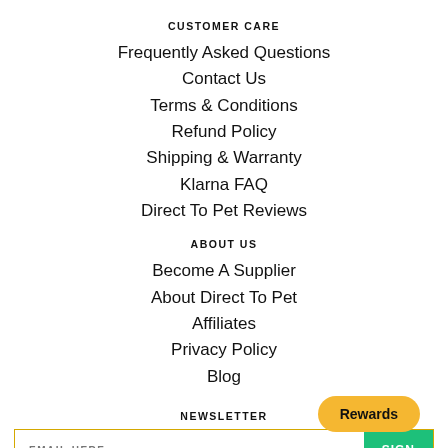CUSTOMER CARE
Frequently Asked Questions
Contact Us
Terms & Conditions
Refund Policy
Shipping & Warranty
Klarna FAQ
Direct To Pet Reviews
ABOUT US
Become A Supplier
About Direct To Pet
Affiliates
Privacy Policy
Blog
NEWSLETTER
EMAIL HERE | SIGN UP
Rewards